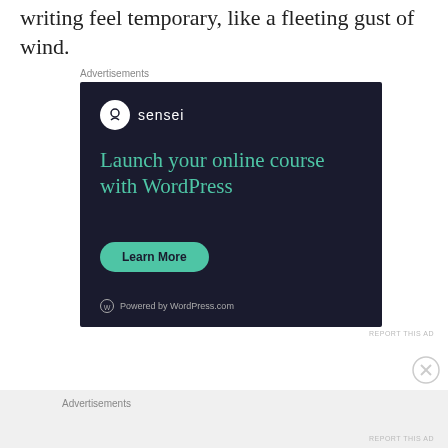writing feel temporary, like a fleeting gust of wind.
Advertisements
[Figure (screenshot): Sensei advertisement: dark background with Sensei logo, headline 'Launch your online course with WordPress', a 'Learn More' button in teal, and 'Powered by WordPress.com' footer.]
Advertisements